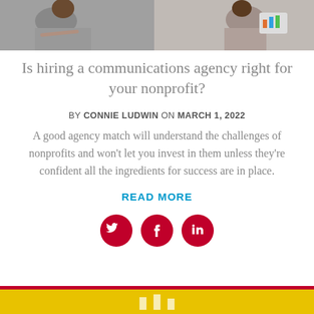[Figure (photo): Photo strip at top showing people working at a meeting/office setting with charts and documents]
Is hiring a communications agency right for your nonprofit?
BY CONNIE LUDWIN ON MARCH 1, 2022
A good agency match will understand the challenges of nonprofits and won't let you invest in them unless they're confident all the ingredients for success are in place.
READ MORE
[Figure (infographic): Social media icons: Twitter, Facebook, LinkedIn — red circular buttons]
[Figure (infographic): Footer bar with yellow background and red top border, with small white bar chart icons]